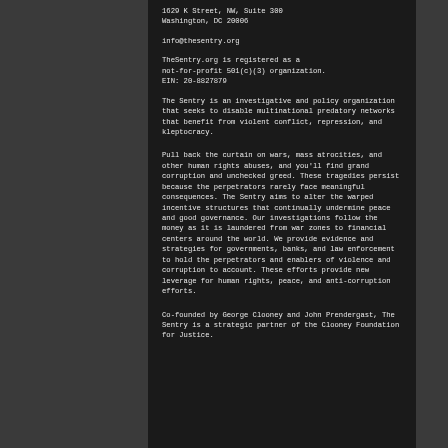1629 K Street, NW, Suite 300
Washington, DC 20006
info@thesentry.org
TheSentry.org is registered as a not-for-profit 501(c)(3) organization.
EIN: 20-8827879
The Sentry is an investigative and policy organization that seeks to disable multinational predatory networks that benefit from violent conflict, repression, and kleptocracy.
Pull back the curtain on wars, mass atrocities, and other human rights abuses, and you’ll find grand corruption and unchecked greed. These tragedies persist because the perpetrators rarely face meaningful consequences. The Sentry aims to alter the warped incentive structures that continually undermine peace and good governance. Our investigations follow the money as it is laundered from war zones to financial centers around the world. We provide evidence and strategies for governments, banks, and law enforcement to hold the perpetrators and enablers of violence and corruption to account. These efforts provide new leverage for human rights, peace, and anti-corruption efforts.
Co-founded by George Clooney and John Prendergast, The Sentry is a strategic partner of the Clooney Foundation for Justice.